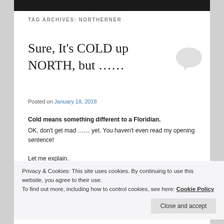TAG ARCHIVES: NORTHERNER
Sure, It's COLD up NORTH, but ……
Posted on January 18, 2018
Cold means something different to a Floridian.
OK, don't get mad …… yet. You haven't even read my opening sentence!
Let me explain.
Privacy & Cookies: This site uses cookies. By continuing to use this website, you agree to their use.
To find out more, including how to control cookies, see here: Cookie Policy
Virginia where I grew up and spent the first thirty or so years of my